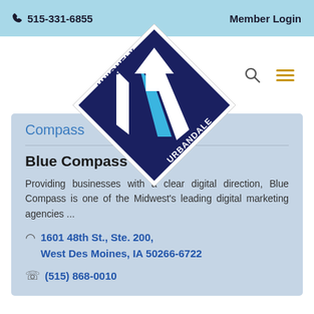515-331-6855   Member Login
[Figure (logo): Uniquely Urbandale logo — diamond shape with stylized U/J letter mark, text UNIQUELY URBANDALE around it]
Blue Compass
Blue Compass
Providing businesses with a clear digital direction, Blue Compass is one of the Midwest's leading digital marketing agencies ...
1601 48th St., Ste. 200, West Des Moines, IA 50266-6722
(515) 868-0010